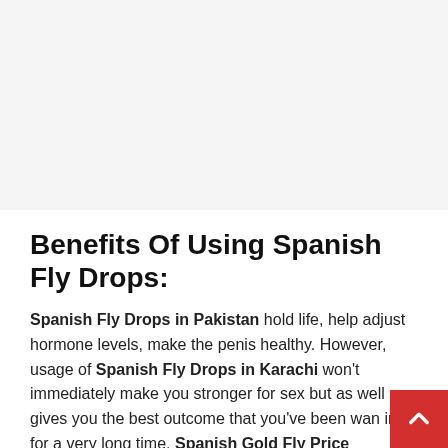[Figure (other): Gray placeholder/advertisement image area at the top of the page]
Benefits Of Using Spanish Fly Drops:
Spanish Fly Drops in Pakistan hold life, help adjust hormone levels, make the penis healthy. However, usage of Spanish Fly Drops in Karachi won't immediately make you stronger for sex but as well gives you the best outcome that you've been wanting for a very long time. Spanish Gold Fly Price Pakistan is a powerful homegrown item that is being used in